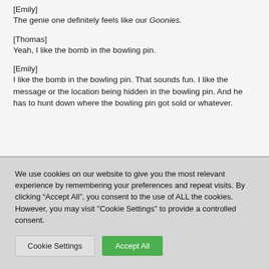[Emily]
The genie one definitely feels like our Goonies.
[Thomas]
Yeah, I like the bomb in the bowling pin.
[Emily]
I like the bomb in the bowling pin. That sounds fun. I like the message or the location being hidden in the bowling pin. And he has to hunt down where the bowling pin got sold or whatever.
We use cookies on our website to give you the most relevant experience by remembering your preferences and repeat visits. By clicking “Accept All”, you consent to the use of ALL the cookies. However, you may visit "Cookie Settings" to provide a controlled consent.